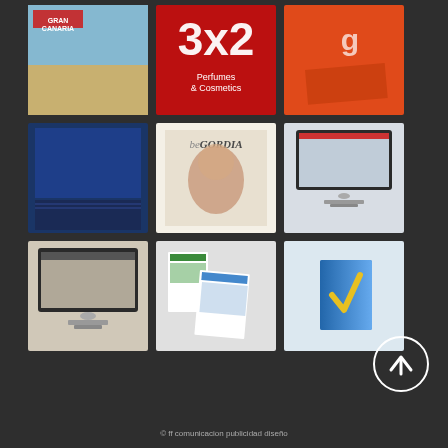[Figure (screenshot): 3x3 portfolio grid of design/print/web work thumbnails on dark background]
[Figure (illustration): Scroll-to-top circular button icon]
© ff comunicacion publicidad diseño